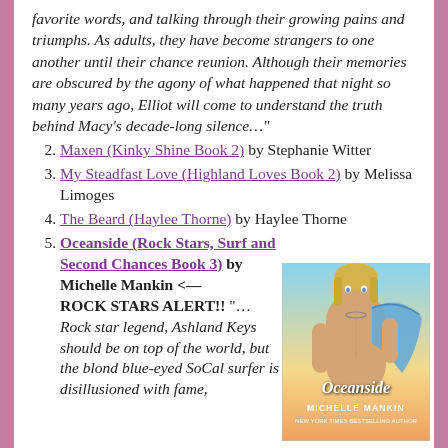favorite words, and talking through their growing pains and triumphs. As adults, they have become strangers to one another until their chance reunion. Although their memories are obscured by the agony of what happened that night so many years ago, Elliot will come to understand the truth behind Macy's decade-long silence…"
2. Maxen (Kinky Shine Book 2) by Stephanie Witter
3. My Steadfast Love (Highland Loves Book 2) by Melissa Limoges
4. The Beard (Haylee Thorne) by Haylee Thorne
5. Oceanside (Rock Stars, Surf and Second Chances Book 3) by Michelle Mankin <— ROCK STARS ALERT!! "… Rock star legend, Ashland Keys should be on top of the world, but the blond blue-eyed SoCal surfer is disillusioned with fame, [continues]"
[Figure (photo): Book cover for Oceanside by Michelle Mankin showing a shirtless blond male model holding a blue fabric, with gradient background. Text reads 'Oceanside' and 'MICHELLE MANKIN' and 'New York Times Bestselling Author']